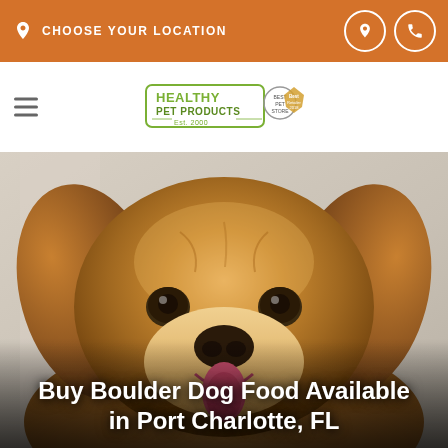CHOOSE YOUR LOCATION
[Figure (logo): Healthy Pet Products logo with Est. 2000 and certification badge]
[Figure (photo): Close-up photo of a golden retriever dog looking at the camera, licking its nose, with a blurred background]
Buy Boulder Dog Food Available in Port Charlotte, FL